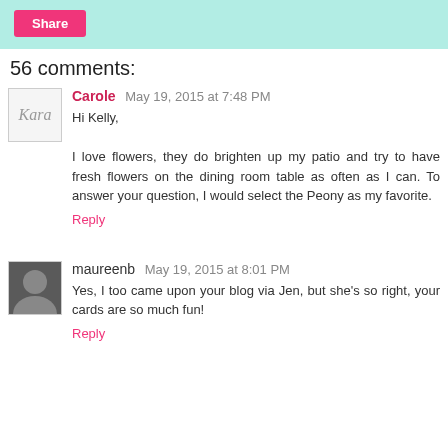[Figure (other): Share button on a light teal/mint background]
56 comments:
Carole May 19, 2015 at 7:48 PM
Hi Kelly,

I love flowers, they do brighten up my patio and try to have fresh flowers on the dining room table as often as I can. To answer your question, I would select the Peony as my favorite.
Reply
maureenb May 19, 2015 at 8:01 PM
Yes, I too came upon your blog via Jen, but she's so right, your cards are so much fun!
Reply